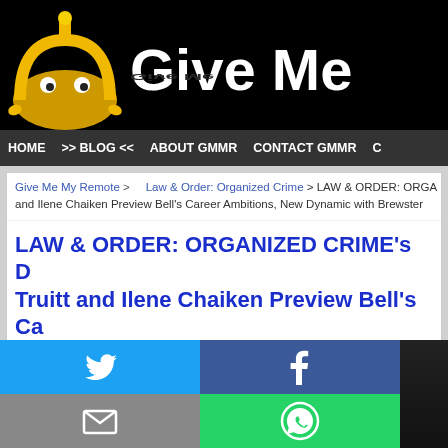[Figure (logo): Give Me My Remote website header with golden TV antenna robot mascot logo and site name 'Give Me' visible]
HOME  >> BLOG <<  ABOUT GMMR  CONTACT GMMR  C
Give Me My Remote > Law & Order: Organized Crime > LAW & ORDER: ORGA and Ilene Chaiken Preview Bell's Career Ambitions, New Dynamic with Brewster
LAW & ORDER: ORGANIZED CRIME's D Truitt and Ilene Chaiken Preview Bell's Ca New Dynamic with Brewster
November 18, 2021 by Marisa Roffman
[Figure (infographic): Social media share buttons grid: Twitter (blue), Facebook (dark blue), Email (gray), WhatsApp (green), SMS (light blue), More/share (teal)]